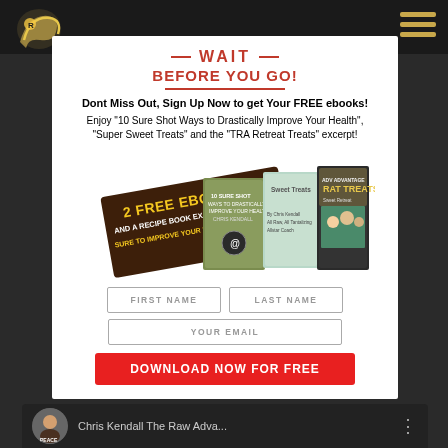[Figure (screenshot): Website popup modal with dark background, logo top-left, hamburger menu top-right. Modal contains 'WAIT BEFORE YOU GO!' heading in red, free ebooks offer text, book cover image collage, form fields for first name/last name/email, and a red 'DOWNLOAD NOW FOR FREE' button. Bottom strip shows a video thumbnail with 'Chris Kendall The Raw Adva...' text.]
WAIT
BEFORE YOU GO!
Dont Miss Out, Sign Up Now to get Your FREE ebooks!
Enjoy "10 Sure Shot Ways to Drastically Improve Your Health", "Super Sweet Treats" and the "TRA Retreat Treats" excerpt!
[Figure (photo): Book collage showing '2 FREE EBOOKS AND A RECIPE BOOK EXCERPT SURE TO IMPROVE YOUR LIFE!' banner text over three book covers]
FIRST NAME
LAST NAME
YOUR EMAIL
DOWNLOAD NOW FOR FREE
Chris Kendall The Raw Adva...